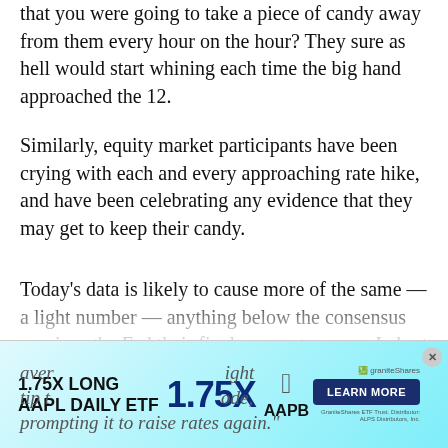that you were going to take a piece of candy away from them every hour on the hour? They sure as hell would start whining each time the big hand approached the 12.
Similarly, equity market participants have been crying with each and every approaching rate hike, and have been celebrating any evidence that they may get to keep their candy.
Today's data is likely to cause more of the same — a light number — anything below the consensus — gives the Fed their final excuse to pause. Lahart also noted the importance of NFP wage component: "A big increase in aver[age hourly earnings] might tip t[he scales back into rate hike m]ode, prompting it to raise rates again."
[Figure (other): Advertisement banner for GraniteShares 1.75X Long AAPL Daily ETF (AAPB) with cyan/teal gradient background, showing bold text '1.75X LONG AAPL DAILY ETF' on the left, large '1.75X' text in center, Apple logo and 'AAPB' ticker, GraniteShares logo, and a 'LEARN MORE' button on the right. A close (X) button appears in the top-right corner.]